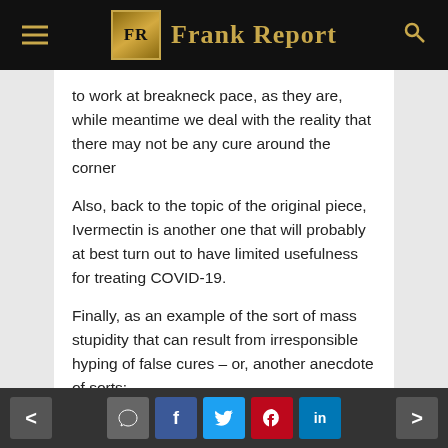FR Frank Report
to work at breakneck pace, as they are, while meantime we deal with the reality that there may not be any cure around the corner
Also, back to the topic of the original piece, Ivermectin is another one that will probably at best turn out to have limited usefulness for treating COVID-19.
Finally, as an example of the sort of mass stupidity that can result from irresponsible hyping of false cures – or, another anecdote of sorts:
* Hundreds Die in Iran From Bootleg Alcohol Being Peddled Online as Fake Coronavirus
< [comment] [f] [twitter] [pinterest] [in] >